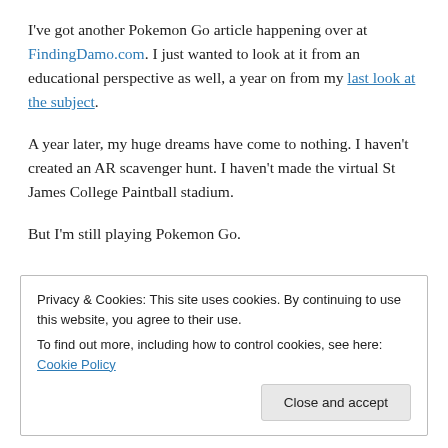I've got another Pokemon Go article happening over at FindingDamo.com. I just wanted to look at it from an educational perspective as well, a year on from my last look at the subject.
A year later, my huge dreams have come to nothing. I haven't created an AR scavenger hunt. I haven't made the virtual St James College Paintball stadium.
But I'm still playing Pokemon Go.
Privacy & Cookies: This site uses cookies. By continuing to use this website, you agree to their use. To find out more, including how to control cookies, see here: Cookie Policy